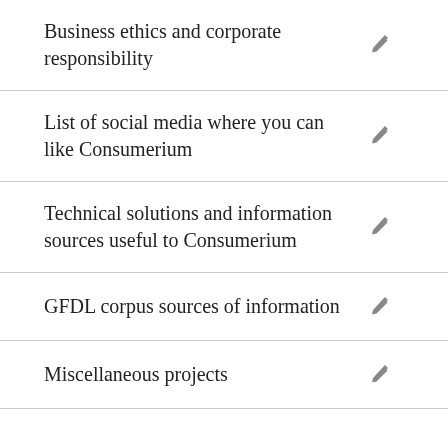Business ethics and corporate responsibility
List of social media where you can like Consumerium
Technical solutions and information sources useful to Consumerium
GFDL corpus sources of information
Miscellaneous projects